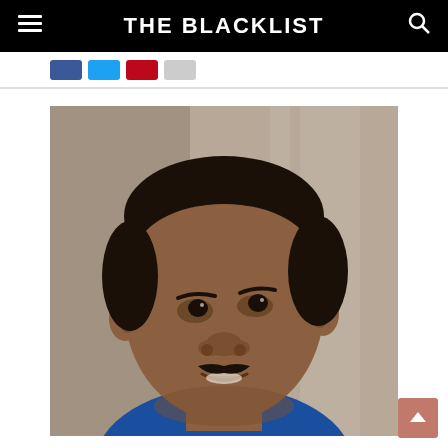THE BLACKLIST
[Figure (photo): Social media share buttons bar showing Facebook (blue), Twitter (light blue), Pinterest (red), and one more (gray) button]
[Figure (photo): Portrait photo of a South Asian man with a mustache, wearing a blue shirt, looking upward and smiling, photographed against a blurred indoor background]